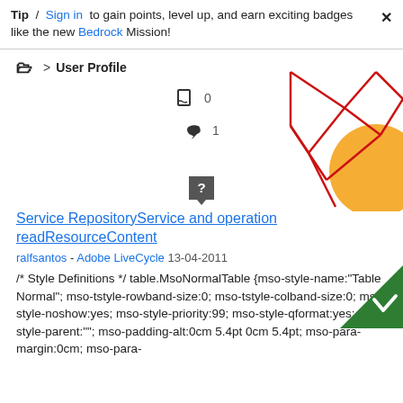Tip / Sign in to gain points, level up, and earn exciting badges like the new Bedrock Mission! ✕
🗀 > User Profile
[Figure (illustration): Decorative geometric red lines and orange circle shape in top-right corner]
[Figure (illustration): Bookmark and reply icons with counts: 0 and 1]
[Figure (illustration): Question mark speech bubble icon in center]
[Figure (illustration): Green checkmark triangle badge in bottom-right corner]
Service RepositoryService and operation readResourceContent
ralfsantos - Adobe LiveCycle 13-04-2011
/* Style Definitions */ table.MsoNormalTable {mso-style-name:"Table Normal"; mso-tstyle-rowband-size:0; mso-tstyle-colband-size:0; mso-style-noshow:yes; mso-style-priority:99; mso-style-qformat:yes; mso-style-parent:""; mso-padding-alt:0cm 5.4pt 0cm 5.4pt; mso-para-margin:0cm; mso-para-